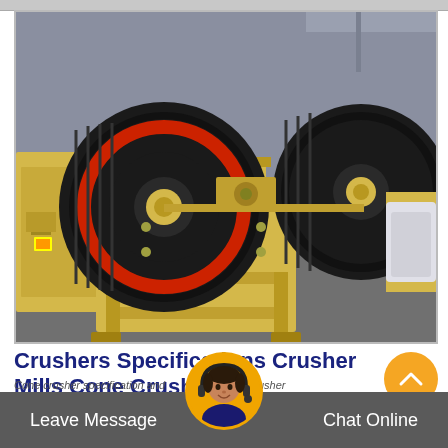[Figure (photo): Industrial jaw crusher machine with large black flywheels on yellow frame, photographed in a warehouse/factory setting with concrete floor and metal structure in background.]
Crushers Specifications Crusher Mills Cone Crusher Jaw
Cone crusher specification and advantages coal crusher
Leave Message    Chat Online